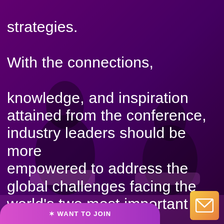[Figure (photo): Dark purple-tinted background photo of two people seated on stage at a conference, overlaid with a purple/magenta color wash.]
strategies. With the connections, knowledge, and inspiration attained from the conference, industry leaders should be more empowered to address the global challenges facing the world's two most important commodities: water and energy.
[Figure (other): Email/envelope icon button with yellow-orange gradient background in bottom right corner.]
WANT TO JOIN